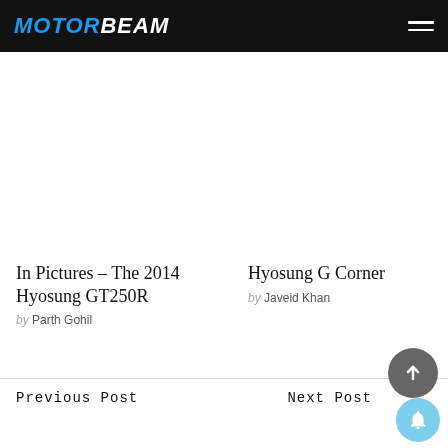MOTORBEAM
[Figure (screenshot): White blank space — article image placeholder area]
In Pictures – The 2014 Hyosung GT250R
by Parth Gohil
Hyosung G Corner
by Javeid Khan
Previous Post
Next Post